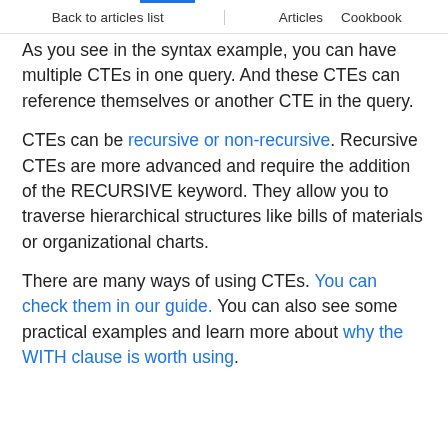Back to articles list | Articles  Cookbook
As you see in the syntax example, you can have multiple CTEs in one query. And these CTEs can reference themselves or another CTE in the query.
CTEs can be recursive or non-recursive. Recursive CTEs are more advanced and require the addition of the RECURSIVE keyword. They allow you to traverse hierarchical structures like bills of materials or organizational charts.
There are many ways of using CTEs. You can check them in our guide. You can also see some practical examples and learn more about why the WITH clause is worth using.